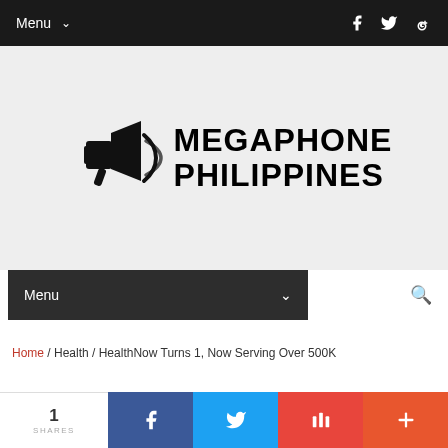Menu
[Figure (logo): Megaphone Philippines logo with megaphone icon and bold text]
Menu
Home / Health / HealthNow Turns 1, Now Serving Over 500K
1 SHARES